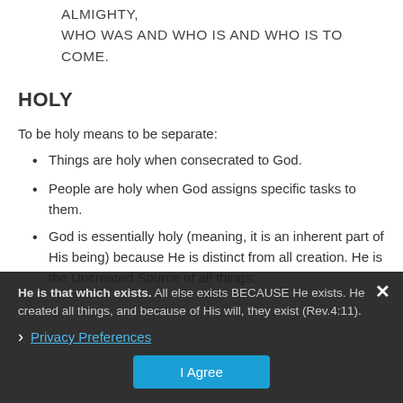ALMIGHTY,
WHO WAS AND WHO IS AND WHO IS TO COME.
HOLY
To be holy means to be separate:
Things are holy when consecrated to God.
People are holy when God assigns specific tasks to them.
God is essentially holy (meaning, it is an inherent part of His being) because He is distinct from all creation. He is the Uncreated Source of all things. He is that which exists. All else exists BECAUSE He exists. He created all things, and because of His will, they exist (Rev.4:11).
He is that which exists. All else exists BECAUSE He exists. He created all things, and because of His will, they exist (Rev.4:11).
Privacy Preferences | I Agree